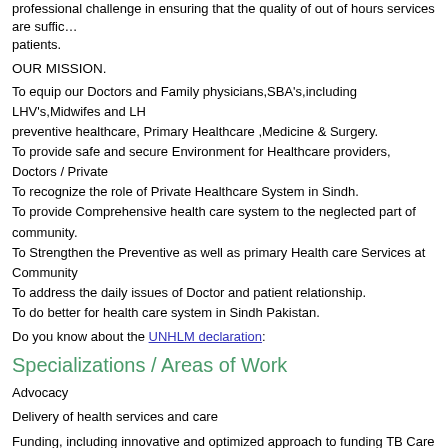professional challenge in ensuring that the quality of out of hours services are sufficient for patients.
OUR MISSION.
To equip our Doctors and Family physicians,SBA's,including LHV's,Midwifes and LH... preventive healthcare, Primary Healthcare ,Medicine & Surgery.
To provide safe and secure Environment for Healthcare providers, Doctors / Private...
To recognize the role of Private Healthcare System in Sindh.
To provide Comprehensive health care system to the neglected part of community.
To Strengthen the Preventive as well as primary Health care Services at Community...
To address the daily issues of Doctor and patient relationship.
To do better for health care system in Sindh Pakistan.
Do you know about the UNHLM declaration:
Specializations / Areas of Work
Advocacy
Delivery of health services and care
Funding, including innovative and optimized approach to funding TB Care
Provision of drugs, diagnostics and commodities
Research and Development
Technical Assistance
Other Organization Information